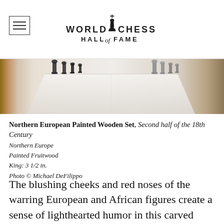World Chess Hall of Fame
[Figure (photo): Partial view of a chess set display on a white surface, showing dark and light chess pieces on both sides]
Northern European Painted Wooden Set, Second half of the 18th Century
Northern Europe
Painted Fruitwood
King: 3 1/2 in.
Photo © Michael DeFilippo
The blushing cheeks and red noses of the warring European and African figures create a sense of lighthearted humor in this carved fruitwood set. The kings in the set hold staffs, while their queens clutch